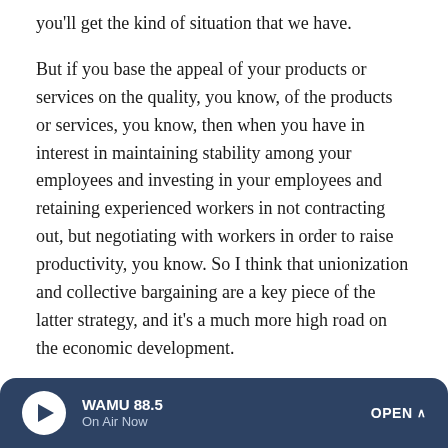you'll get the kind of situation that we have.
But if you base the appeal of your products or services on the quality, you know, of the products or services, you know, then when you have in interest in maintaining stability among your employees and investing in your employees and retaining experienced workers in not contracting out, but negotiating with workers in order to raise productivity, you know. So I think that unionization and collective bargaining are a key piece of the latter strategy, and it's a much more high road on the economic development.
CONAN: James, thanks very much for the phone call.
JAMES: Thank you.
[Figure (other): WAMU 88.5 radio player bar with play button, station name 'WAMU 88.5', 'On Air Now' label, and 'OPEN' button with chevron, dark blue background]